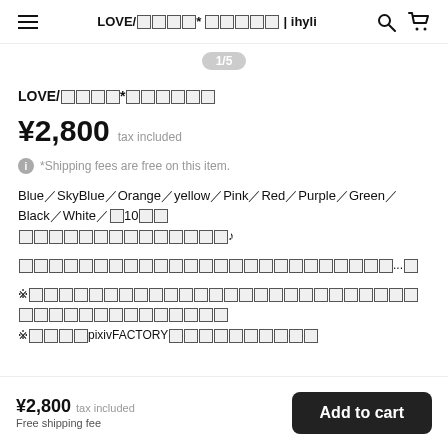LOVE/□□□□* □□□□□ | ihyli
1/5
LOVE/□□□□*□□□□□□
¥2,800  tax included
*Shipping fees are free on this item.
Blue／SkyBlue／Orange／yellow／Pink／Red／Purple／Green／Black／White／全10色
から好きな色をお選びいただけます♪
推しカラーでぜひ作ってみてください🎀...✨
※オーダーのキャンセルや購入後の色変更は承っておりません
※こちらはpixivFACTORYでの受注生産です
¥2,800  tax included
Free shipping fee
Add to cart